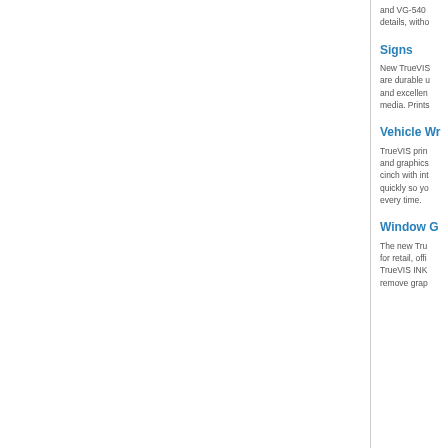and VG-540 details, witho
Signs
New TrueVIS are durable u and excellen media. Prints
Vehicle Wr
TrueVIS prin and graphics cinch with int quickly so yo every time.
Window G
The new Tru for retail, offi TrueVIS INK remove grap